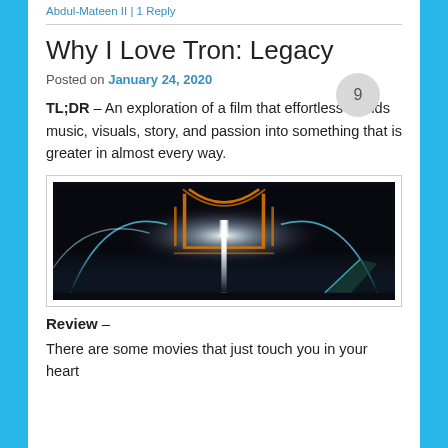Abdul-Mateen II | 1 Reply
Why I Love Tron: Legacy
Posted on January 24, 2020
TL;DR – An exploration of a film that effortless blends music, visuals, story, and passion into something that is greater in almost every way.
[Figure (photo): Dark cinematic scene from Tron: Legacy showing futuristic architecture with neon orange and blue lights against a dark background, with a bright white central light source.]
Review –
There are some movies that just touch you in your heart